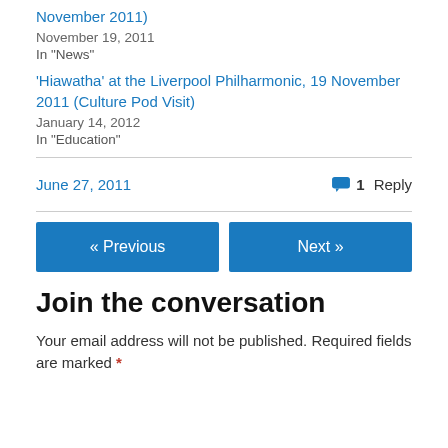November 2011)
November 19, 2011
In "News"
'Hiawatha' at the Liverpool Philharmonic, 19 November 2011 (Culture Pod Visit)
January 14, 2012
In "Education"
June 27, 2011
1 Reply
« Previous
Next »
Join the conversation
Your email address will not be published. Required fields are marked *